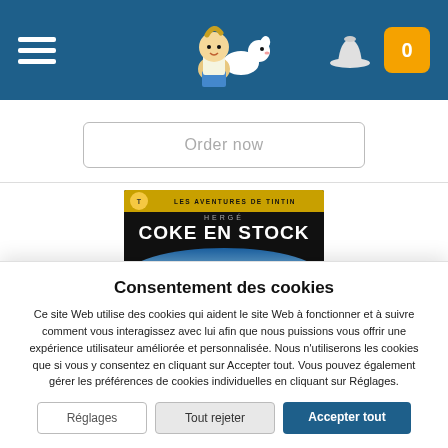[Figure (screenshot): Navigation bar with hamburger menu on left, Tintin and Milou logo in center, hat icon and orange cart button with 0 on right, dark blue background]
Order now
[Figure (illustration): Book cover of 'Coke en Stock' from Les Aventures de Tintin by Hergé, black background with golden banner at top, white title text, globe with figures at bottom]
Consentement des cookies
Ce site Web utilise des cookies qui aident le site Web à fonctionner et à suivre comment vous interagissez avec lui afin que nous puissions vous offrir une expérience utilisateur améliorée et personnalisée. Nous n'utiliserons les cookies que si vous y consentez en cliquant sur Accepter tout. Vous pouvez également gérer les préférences de cookies individuelles en cliquant sur Réglages.
Réglages
Tout rejeter
Accepter tout